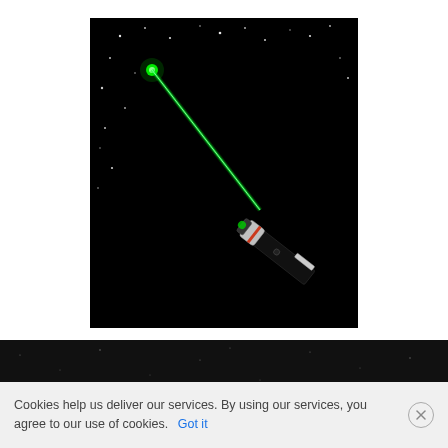[Figure (photo): A green laser pointer emitting a bright green beam diagonally upward-left against a black starry background. The pointer device is visible in the lower-right portion of the image, with a silver/chrome cap and a black body. The green laser beam extends from the tip toward the upper-left where a bright green dot is visible among scattered white stars.]
[Figure (photo): A dark, nearly black strip showing a faint starry or grainy texture — appears to be a cropped portion of the same or similar starry night background.]
Cookies help us deliver our services. By using our services, you agree to our use of cookies. Got it